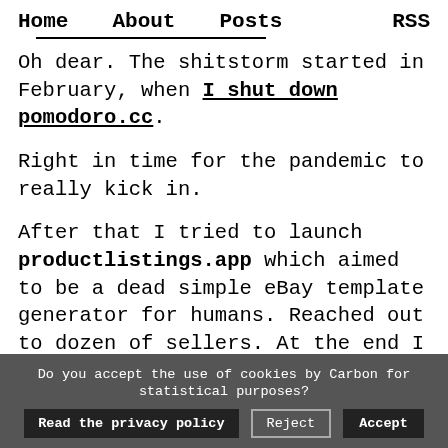Home   About   Posts   RSS
Oh dear. The shitstorm started in February, when I shut down pomodoro.cc.
Right in time for the pandemic to really kick in.
After that I tried to launch productlistings.app which aimed to be a dead simple eBay template generator for humans. Reached out to dozen of sellers. At the end I lost interest and shut it down.
Then comes the idea of privacy friendly Twitter
Do you accept the use of cookies by Carbon for statistical purposes?  Read the privacy policy   Reject   Accept